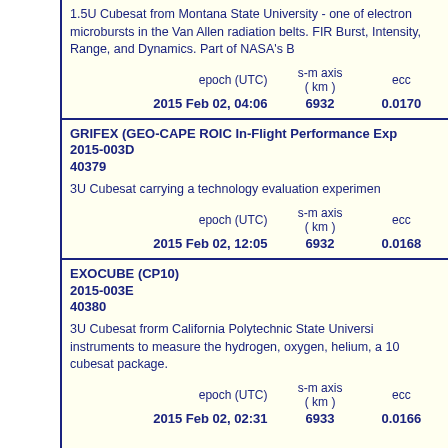1.5U Cubesat from Montana State University - one of electron microbursts in the Van Allen radiation belts. FIR Burst, Intensity, Range, and Dynamics. Part of NASA's B
| epoch (UTC) | s-m axis ( km ) | ecc |
| --- | --- | --- |
| 2015 Feb 02, 04:06 | 6932 | 0.0170 |
GRIFEX (GEO-CAPE ROIC In-Flight Performance Exp 2015-003D 40379
3U Cubesat carrying a technology evaluation experimen
| epoch (UTC) | s-m axis ( km ) | ecc |
| --- | --- | --- |
| 2015 Feb 02, 12:05 | 6932 | 0.0168 |
EXOCUBE (CP10) 2015-003E 40380
3U Cubesat frorm California Polytechnic State Universi instruments to measure the hydrogen, oxygen, helium, a 10 cubesat package.
| epoch (UTC) | s-m axis ( km ) | ecc |
| --- | --- | --- |
| 2015 Feb 02, 02:31 | 6933 | 0.0166 |